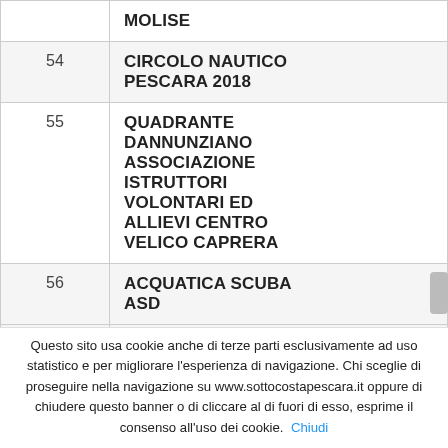| # | Name |
| --- | --- |
|  | MOLISE |
| 54 | CIRCOLO NAUTICO PESCARA 2018 |
| 55 | QUADRANTE DANNUNZIANO ASSOCIAZIONE ISTRUTTORI VOLONTARI ED ALLIEVI CENTRO VELICO CAPRERA |
| 56 | ACQUATICA SCUBA ASD |
| 57 | 57 |
Questo sito usa cookie anche di terze parti esclusivamente ad uso statistico e per migliorare l'esperienza di navigazione. Chi sceglie di proseguire nella navigazione su www.sottocostapescara.it oppure di chiudere questo banner o di cliccare al di fuori di esso, esprime il consenso all'uso dei cookie. Chiudi